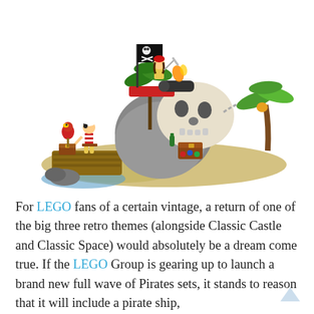[Figure (photo): A LEGO pirate island set featuring a skull-shaped rock formation, a pirate minifigure on top with a Jolly Roger flag and cannon, a second pirate minifigure with a parrot on the dock, a treasure chest, palm tree connected by a chain, and sandy base plates.]
For LEGO fans of a certain vintage, a return of one of the big three retro themes (alongside Classic Castle and Classic Space) would absolutely be a dream come true. If the LEGO Group is gearing up to launch a brand new full wave of Pirates sets, it stands to reason that it will include a pirate ship,